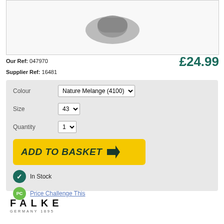[Figure (photo): Product image placeholder - sock/footwear on white/grey background]
Our Ref: 047970
£24.99
Supplier Ref: 16481
Colour: Nature Melange (4100)
Size: 43
Quantity: 1
ADD TO BASKET
In Stock
Price Challenge This
[Figure (logo): FALKE GERMANY 1895 brand logo]